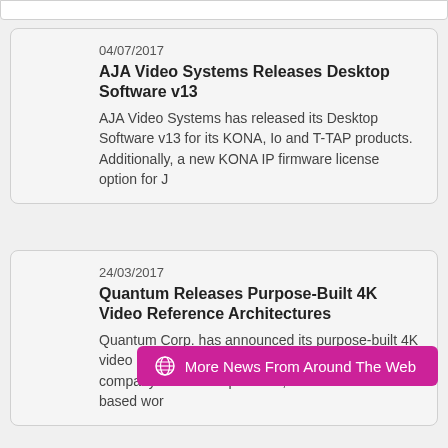04/07/2017
AJA Video Systems Releases Desktop Software v13
AJA Video Systems has released its Desktop Software v13 for its KONA, Io and T-TAP products. Additionally, a new KONA IP firmware license option for J
24/03/2017
Quantum Releases Purpose-Built 4K Video Reference Architectures
Quantum Corp. has announced its purpose-built 4K video reference architectures that leverage the company's StorNext-powered, disk- and flash-based wor
More News From Around The Web